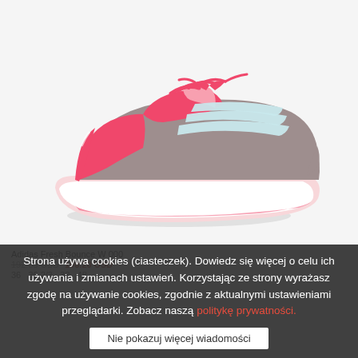[Figure (photo): Pink and grey Adidas women's running sneaker with white sole, white stripes accent, and pink laces on white background]
Adidas Fresh Bounce W 000 192.85 USD 100.20 USD 36 36 2/3 38 48
Strona używa cookies (ciasteczek). Dowiedz się więcej o celu ich używania i zmianach ustawień. Korzystając ze strony wyrażasz zgodę na używanie cookies, zgodnie z aktualnymi ustawieniami przeglądarki. Zobacz naszą politykę prywatności.
Nie pokazuj więcej wiadomości